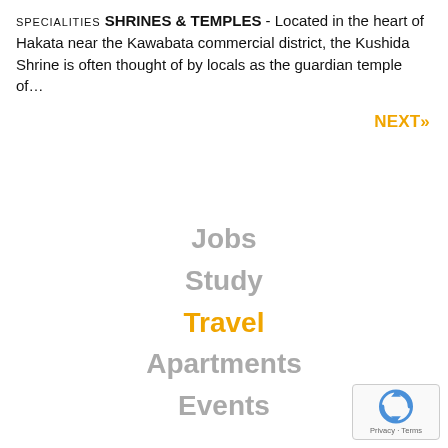SPECIALITIES SHRINES & TEMPLES - Located in the heart of Hakata near the Kawabata commercial district, the Kushida Shrine is often thought of by locals as the guardian temple of...
NEXT»
Jobs
Study
Travel
Apartments
Events
[Figure (logo): reCAPTCHA badge with Google logo icon and Privacy/Terms text]